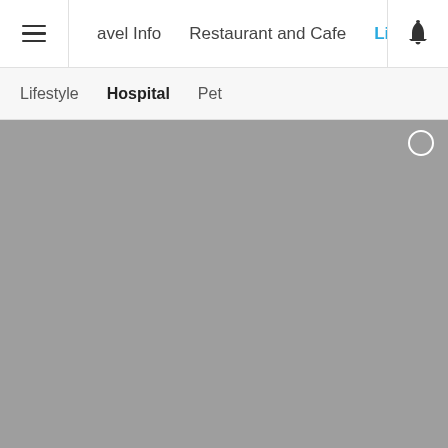≡  avel Info   Restaurant and Cafe   Lifestyle   Ever  🔔
Lifestyle   Hospital   Pet
[Figure (photo): Large grey placeholder image filling the main content area, with a small white circle outline in the upper right corner.]